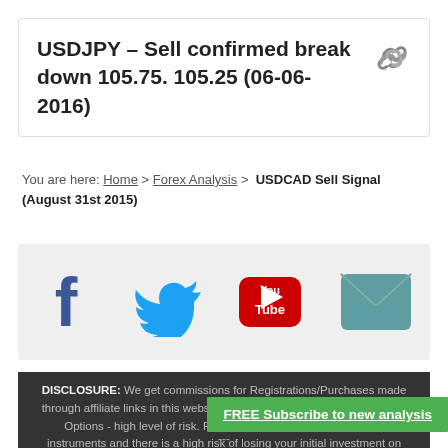USDJPY – Sell confirmed break down 105.75. 105.25 (06-06-2016)
You are here: Home > Forex Analysis > USDCAD Sell Signal (August 31st 2015)
[Figure (infographic): Social media icons: Facebook (blue f), Twitter (blue bird), YouTube (red/white logo), Email (teal envelope)]
DISCLOSURE: We get commissions for Registrations/Purchases made through affiliate links in this website (ProfitF.com). Trading Forex, Binary Options - high level of risk. Please remember these are volatile instruments and there is a high risk of losing your initial investment on each individual tr
FREE Subscribe to new analysis
---